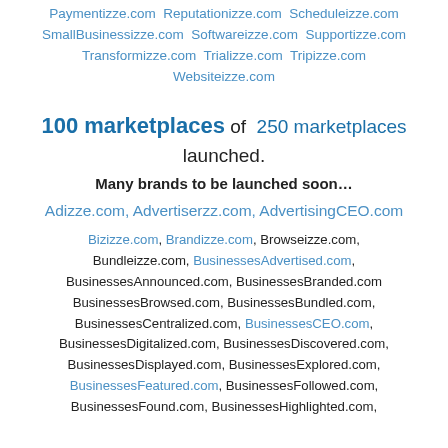Paymentizze.com Reputationizze.com Scheduleizze.com SmallBusinessizze.com Softwareizze.com Supportizze.com Transformizze.com Trializze.com Tripizze.com Websiteizze.com
100 marketplaces of 250 marketplaces launched. Many brands to be launched soon...
Adizze.com, Advertiserzz.com, AdvertisingCEO.com
Bizizze.com, Brandizze.com, Browseizze.com, Bundleizze.com, BusinessesAdvertised.com, BusinessesAnnounced.com, BusinessesBranded.com BusinessesBrowsed.com, BusinessesBundled.com, BusinessesCentralized.com, BusinessesCEO.com, BusinessesDigitalized.com, BusinessesDiscovered.com, BusinessesDisplayed.com, BusinessesExplored.com, BusinessesFeatured.com, BusinessesFollowed.com, BusinessesFound.com, BusinessesHighlighted.com,